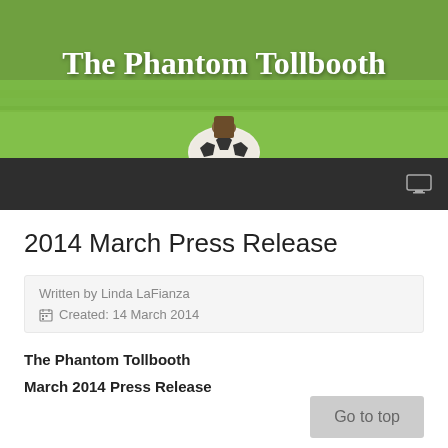[Figure (photo): Green grassy background header banner with a soccer ball partially visible at the bottom center]
The Phantom Tollbooth
[Figure (other): Dark navigation bar with a monitor/screen icon on the right side]
2014 March Press Release
Written by Linda LaFianza
Created: 14 March 2014
The Phantom Tollbooth
March 2014 Press Release